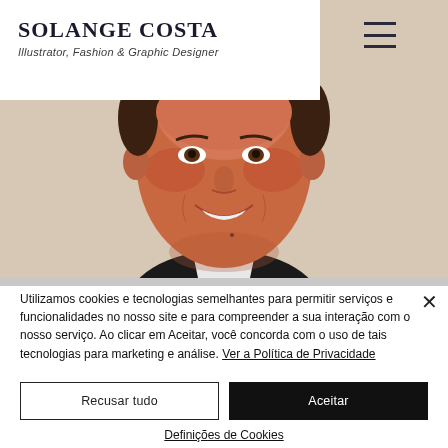SOLANGE COSTA — Illustrator, Fashion & Graphic Designer
[Figure (illustration): Illustrated portrait of a smiling man with brown hair wearing a dark suit, against a beige/tan background. The illustration has a painted, realistic style.]
Utilizamos cookies e tecnologias semelhantes para permitir serviços e funcionalidades no nosso site e para compreender a sua interação com o nosso serviço. Ao clicar em Aceitar, você concorda com o uso de tais tecnologias para marketing e análise. Ver a Política de Privacidade
Recusar tudo
Aceitar
Definições de Cookies